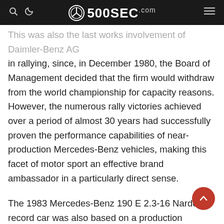500SEC.com
This was also the last works involvement of Daimler-Benz AG in rallying, since, in December 1980, the Board of Management decided that the firm would withdraw from the world championship for capacity reasons. However, the numerous rally victories achieved over a period of almost 30 years had successfully proven the performance capabilities of near-production Mercedes-Benz vehicles, making this facet of motor sport an effective brand ambassador in a particularly direct sense.
The 1983 Mercedes-Benz 190 E 2.3-16 Nardo record car was also based on a production vehicle. Mercedes-Benz put the modified 190 car through its paces on the Nardo racetrack in Italy as publicity for the launch of the W 201 model series, to highlight the sports performance capabilities of the new compact class sedan.